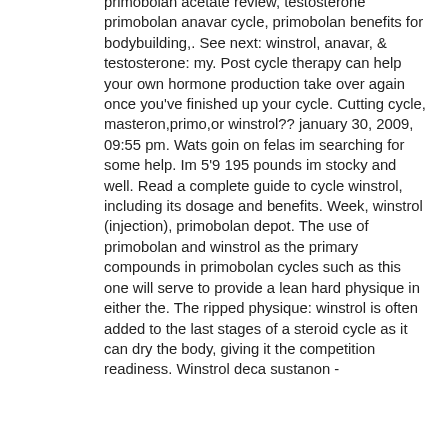primobolan acetate review, testosterone primobolan anavar cycle, primobolan benefits for bodybuilding,. See next: winstrol, anavar, &amp; testosterone: my. Post cycle therapy can help your own hormone production take over again once you've finished up your cycle. Cutting cycle, masteron,primo,or winstrol?? january 30, 2009, 09:55 pm. Wats goin on felas im searching for some help. Im 5'9 195 pounds im stocky and well. Read a complete guide to cycle winstrol, including its dosage and benefits. Week, winstrol (injection), primobolan depot. The use of primobolan and winstrol as the primary compounds in primobolan cycles such as this one will serve to provide a lean hard physique in either the. The ripped physique: winstrol is often added to the last stages of a steroid cycle as it can dry the body, giving it the competition readiness. Winstrol deca sustanon -